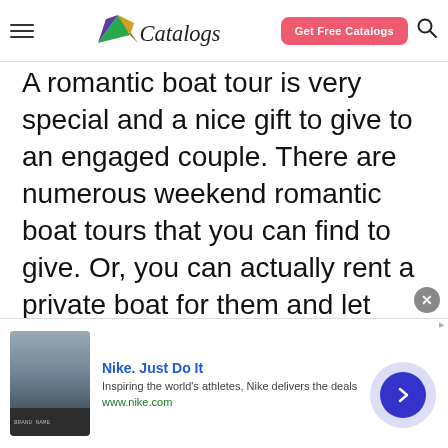Catalogs — Get Free Catalogs
A romantic boat tour is very special and a nice gift to give to an engaged couple. There are numerous weekend romantic boat tours that you can find to give. Or, you can actually rent a private boat for them and let them enjoy themselves for a weekend of fishing, water skiing, sun bathing and relaxing.
Dancing Lessons
This is a gift that can come in handy for the
[Figure (screenshot): Nike advertisement banner: Nike. Just Do It — Inspiring the world's athletes, Nike delivers the deals — www.nike.com]